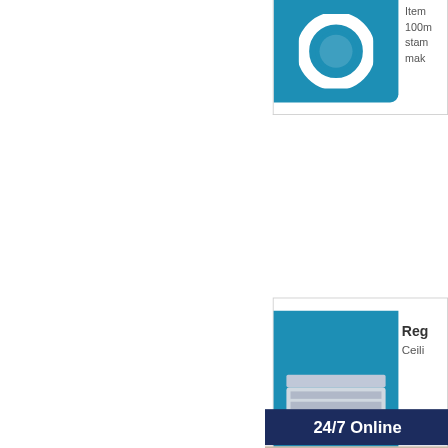[Figure (screenshot): Top product card with a circular ring product on a blue background (partially visible at top)]
Item... 100m... star... mak...
[Figure (screenshot): Middle product card showing a ceiling vent/register product on a blue background, labeled 'Reg... Ceili...']
Reg
Ceili
24/7 Online
[Figure (photo): Customer service representative smiling, wearing a headset]
Have any requests, click here.
Quotation
Contact Us
Boda Aluminum Products Co. LTD